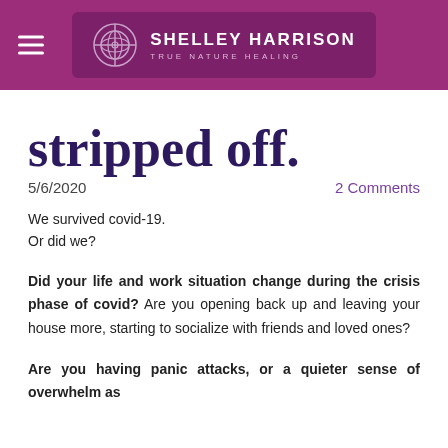Shelley Harrison True Nature Healing
stripped off.
5/6/2020    2 Comments
We survived covid-19.
Or did we?
Did your life and work situation change during the crisis phase of covid? Are you opening back up and leaving your house more, starting to socialize with friends and loved ones?
Are you having panic attacks, or a quieter sense of overwhelm as